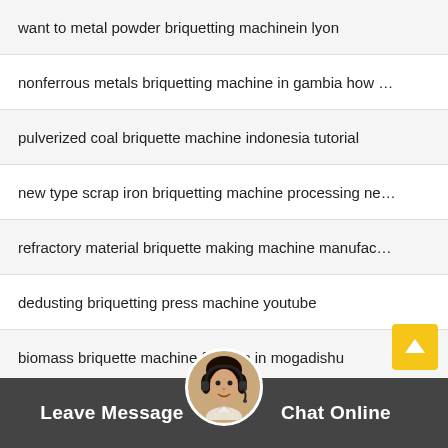want to metal powder briquetting machinein lyon
nonferrous metals briquetting machine in gambia how …
pulverized coal briquette machine indonesia tutorial
new type scrap iron briquetting machine processing ne…
refractory material briquette making machine manufac…
dedusting briquetting press machine youtube
biomass briquette machine for sale in mogadishu
used khd high pressure grinding roll mill
new type mvp lignite briquetting machines for sale
carbon briquetting press machine manufacturer manu…